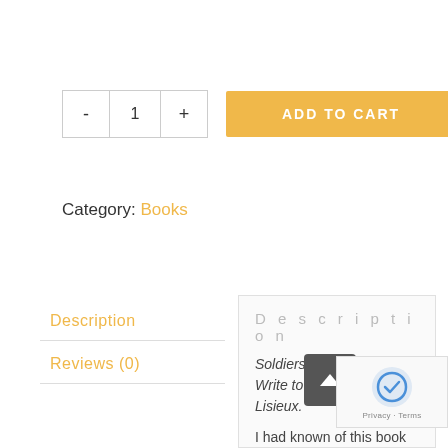[Figure (screenshot): Quantity selector with minus, 1, plus buttons and an orange Add to Cart button]
Category: Books
Description
Reviews (0)
Description
Soldiers of the Great War Write to Therese of Lisieux.
I had known of this book for some time and was pleased to pick up a